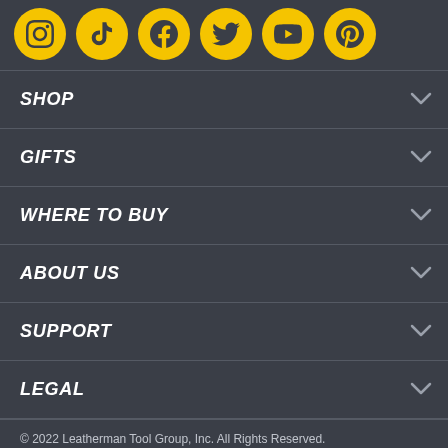[Figure (illustration): Six social media icons in yellow circles: Instagram, TikTok, Facebook, Twitter, YouTube, Pinterest]
SHOP
GIFTS
WHERE TO BUY
ABOUT US
SUPPORT
LEGAL
© 2022 Leatherman Tool Group, Inc. All Rights Reserved.